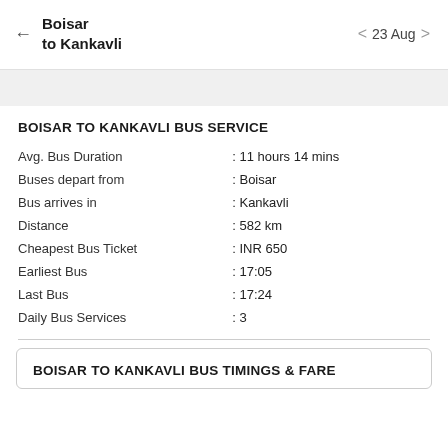Boisar to Kankavli   23 Aug
BOISAR TO KANKAVLI BUS SERVICE
| Field | Value |
| --- | --- |
| Avg. Bus Duration | : 11 hours 14 mins |
| Buses depart from | : Boisar |
| Bus arrives in | : Kankavli |
| Distance | : 582 km |
| Cheapest Bus Ticket | : INR 650 |
| Earliest Bus | : 17:05 |
| Last Bus | : 17:24 |
| Daily Bus Services | : 3 |
BOISAR TO KANKAVLI BUS TIMINGS & FARE